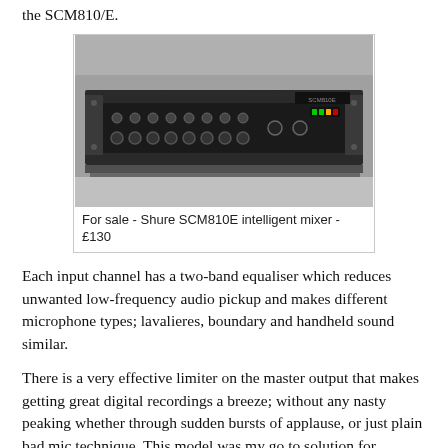the SCM810/E.
[Figure (photo): Photo of a Shure SCM810E intelligent mixer rack unit, showing the front panel with multiple XLR input channels and controls]
For sale - Shure SCM810E intelligent mixer - £130
Each input channel has a two-band equaliser which reduces unwanted low-frequency audio pickup and makes different microphone types; lavalieres, boundary and handheld sound similar.
There is a very effective limiter on the master output that makes getting great digital recordings a breeze; without any nasty peaking whether through sudden bursts of applause, or just plain bad mic technique. This model was my go to solution for recording round table discussions and teleconference sessions. I have heard of other engineers